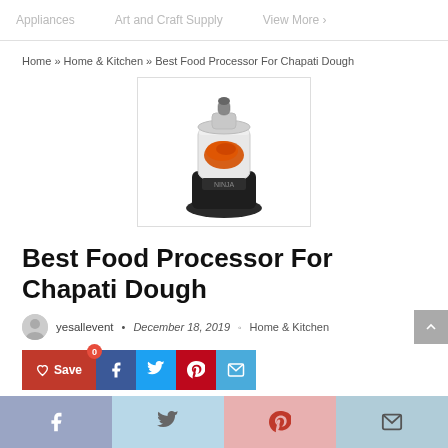Appliances   Art and Craft Supply   View More
Home » Home & Kitchen » Best Food Processor For Chapati Dough
[Figure (photo): A food processor with orange/red contents visible in the bowl, black base, silver top lid, on a white background.]
Best Food Processor For Chapati Dough
yesallevent  •  December 18, 2019  ◦  Home & Kitchen